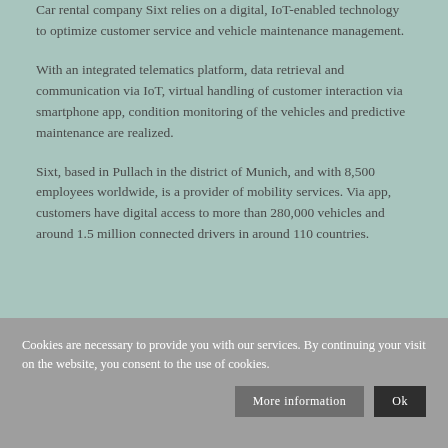Car rental company Sixt relies on a digital, IoT-enabled technology to optimize customer service and vehicle maintenance management.
With an integrated telematics platform, data retrieval and communication via IoT, virtual handling of customer interaction via smartphone app, condition monitoring of the vehicles and predictive maintenance are realized.
Sixt, based in Pullach in the district of Munich, and with 8,500 employees worldwide, is a provider of mobility services. Via app, customers have digital access to more than 280,000 vehicles and around 1.5 million connected drivers in around 110 countries.
Cookies are necessary to provide you with our services. By continuing your visit on the website, you consent to the use of cookies.